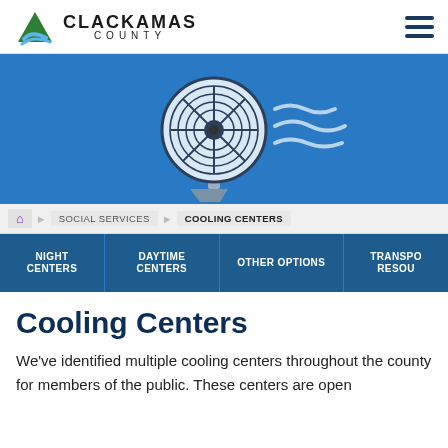Clackamas County
[Figure (illustration): A blue banner with an illustration of an electric fan blowing air (wavy lines) on a light blue background.]
Home > Social Services > Cooling Centers
NIGHT CENTERS | DAYTIME CENTERS | OTHER OPTIONS | TRANSPORTATION RESOURCES
Cooling Centers
We've identified multiple cooling centers throughout the county for members of the public. These centers are open